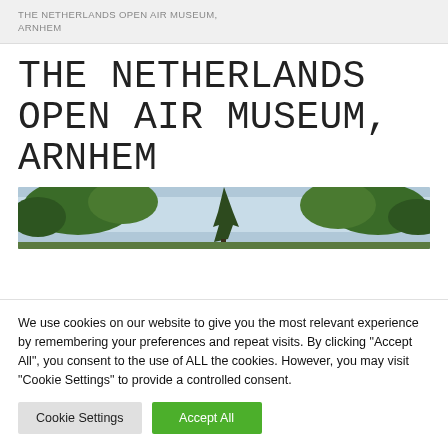THE NETHERLANDS OPEN AIR MUSEUM, ARNHEM
THE NETHERLANDS OPEN AIR MUSEUM, ARNHEM
[Figure (photo): Outdoor photo of tall trees against a light blue sky, likely taken at the Netherlands Open Air Museum grounds]
We use cookies on our website to give you the most relevant experience by remembering your preferences and repeat visits. By clicking "Accept All", you consent to the use of ALL the cookies. However, you may visit "Cookie Settings" to provide a controlled consent.
Cookie Settings   Accept All